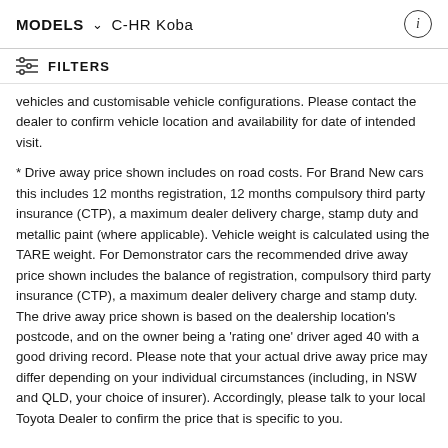MODELS  ∨  C-HR Koba
FILTERS
vehicles and customisable vehicle configurations. Please contact the dealer to confirm vehicle location and availability for date of intended visit.
* Drive away price shown includes on road costs. For Brand New cars this includes 12 months registration, 12 months compulsory third party insurance (CTP), a maximum dealer delivery charge, stamp duty and metallic paint (where applicable). Vehicle weight is calculated using the TARE weight. For Demonstrator cars the recommended drive away price shown includes the balance of registration, compulsory third party insurance (CTP), a maximum dealer delivery charge and stamp duty. The drive away price shown is based on the dealership location's postcode, and on the owner being a 'rating one' driver aged 40 with a good driving record. Please note that your actual drive away price may differ depending on your individual circumstances (including, in NSW and QLD, your choice of insurer). Accordingly, please talk to your local Toyota Dealer to confirm the price that is specific to you.